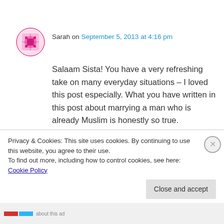[Figure (illustration): Pink/red decorative avatar icon with geometric pattern]
Sarah on September 5, 2013 at 4:16 pm
Salaam Sista! You have a very refreshing take on many everyday situations – I loved this post especially. What you have written in this post about marrying a man who is already Muslim is honestly so true. Alhumdalillah, i am blessed with a practicing and continually striving husband who pushes me to strive towards bettering my iman and knowledge and it really makes a
Privacy & Cookies: This site uses cookies. By continuing to use this website, you agree to their use.
To find out more, including how to control cookies, see here: Cookie Policy